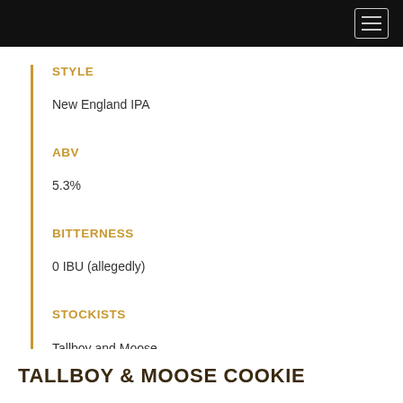[Navigation bar with hamburger menu]
STYLE
New England IPA
ABV
5.3%
BITTERNESS
0 IBU (allegedly)
STOCKISTS
Tallboy and Moose
Other venues TBC
TALLBOY & MOOSE COOKIE